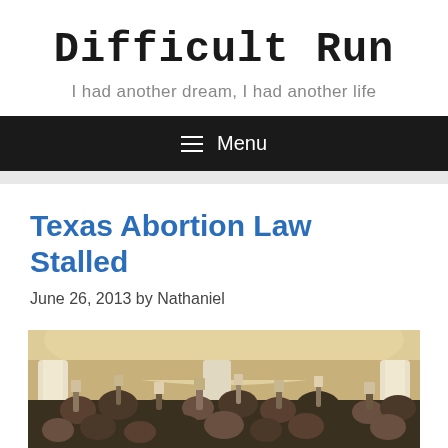Difficult Run
I had another dream, I had another life
≡ Menu
Texas Abortion Law Stalled
June 26, 2013 by Nathaniel
[Figure (photo): A large crowd of protesters inside what appears to be a government building with tall white columns, many people raising hands and holding up phones or cameras.]